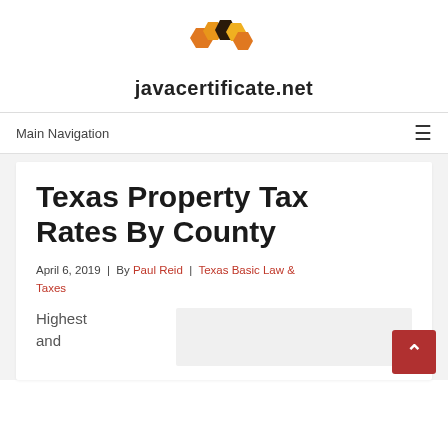[Figure (logo): javacertificate.net hexagon logo with orange, dark brown, and yellow hexagons above the site name]
Main Navigation
Texas Property Tax Rates By County
April 6, 2019 | By Paul Reid | Texas Basic Law & Taxes
Highest and